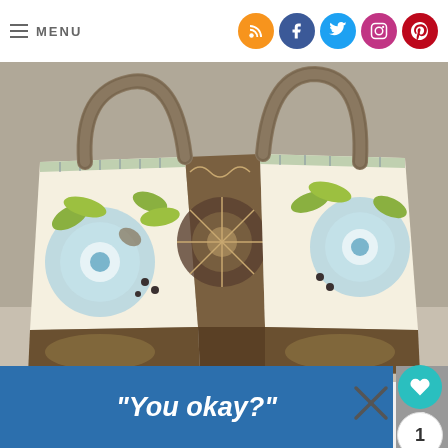≡ MENU
[Figure (photo): A decorative fabric tote bag with floral and botanical patterns in blue, green, brown, and cream colors. The bag has two handles and a front pocket. The fabric features large flowers, leaves, and ornate designs.]
"You okay?"
[Figure (infographic): Close (X) button and 'w' logo at bottom right]